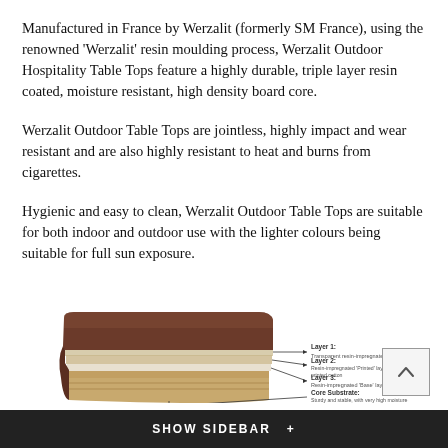Manufactured in France by Werzalit (formerly SM France), using the renowned 'Werzalit' resin moulding process, Werzalit Outdoor Hospitality Table Tops feature a highly durable, triple layer resin coated, moisture resistant, high density board core.
Werzalit Outdoor Table Tops are jointless, highly impact and wear resistant and are also highly resistant to heat and burns from cigarettes.
Hygienic and easy to clean, Werzalit Outdoor Table Tops are suitable for both indoor and outdoor use with the lighter colours being suitable for full sun exposure.
[Figure (schematic): Cross-section diagram of a Werzalit table top showing four layers: Layer 1 (Transparent resin-impregnated film), Layer 2 (Resin-impregnated 'Printed' layer or resin-impregnated printed cotton), Layer 3 (Resin-impregnated 'Base' layer), and Core Substrate (Sturdy and stable, with very high moisture and rot resistance).]
SHOW SIDEBAR +